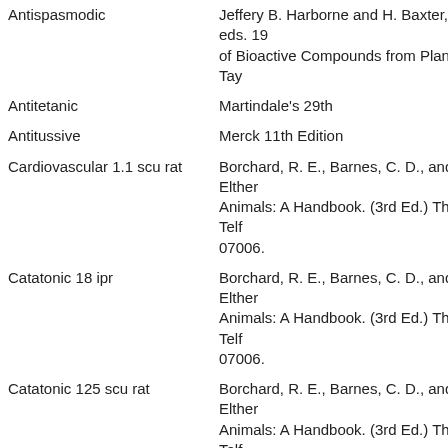| Activity | Reference |
| --- | --- |
| Antispasmodic | Jeffery B. Harborne and H. Baxter, eds. 19... of Bioactive Compounds from Plants. Tay... |
| Antitetanic | Martindale's 29th |
| Antitussive | Merck 11th Edition |
| Cardiovascular 1.1 scu rat | Borchard, R. E., Barnes, C. D., and Elther... Animals: A Handbook. (3rd Ed.) The Telf... 07006. |
| Catatonic 18 ipr | Borchard, R. E., Barnes, C. D., and Elther... Animals: A Handbook. (3rd Ed.) The Telf... 07006. |
| Catatonic 125 scu rat | Borchard, R. E., Barnes, C. D., and Elther... Animals: A Handbook. (3rd Ed.) The Telf... 07006. |
| Catatonic 500 orl rat | Borchard, R. E., Barnes, C. D., and Elther... Animals: A Handbook. (3rd Ed.) The Telf... 07006. |
| Convulsant 160 mg/kg scu rat |  |
| Dermatitigenic |  |
| Euphoric |  |
| Gastrosedative | Jeffery B. Harborne and H. Baxter, eds. 19... of Bioactive Compounds from Plants. Tay... |
| Narcotic | Merck 11th Edition |